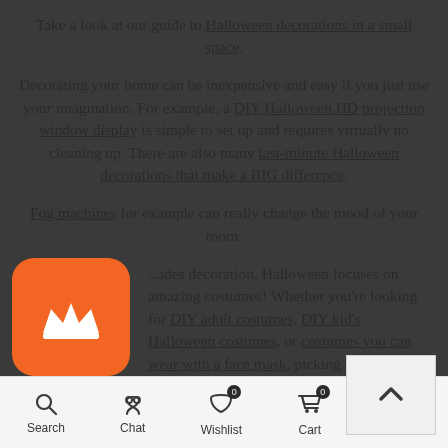Take a look at our guide to Halloween decorations in a small space.
Decorating your home can be inexpensive and easy if you just use your imagination. For example, a DIY Halloween HD projection window display is simple to set up and requires virtually no cleaning up. There are also many last-minute Halloween decorations that make a BIG difference.
Fog machines for example can really change the mood of your room.
[Figure (logo): Orange rounded square badge with a white crown icon]
...ides decoration, Halloween focuses on amazing costumes! Whether you're looking for DIY adult costumes, DIY kid's Halloween costumes, or costumes you can wear with a face mask, picking out the best costu... essential for any Halloween celebration. Use your...
[Figure (other): Scroll-to-top button with upward chevron arrow]
Search  Chat  Wishlist  Cart  Account